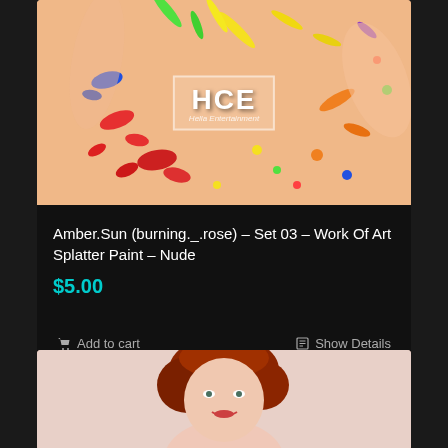[Figure (photo): Photo of a person with colorful paint splatter on their body and a white surface, with HCE (Hella Entertainment) logo watermark in the center]
Amber.Sun (burning._.rose) – Set 03 – Work Of Art Splatter Paint – Nude
$5.00
Add to cart
Show Details
[Figure (photo): Photo of a red-haired woman with short hair, smiling, partial view from top of frame]